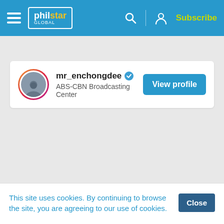[Figure (screenshot): Philstar Global website navigation bar with hamburger menu, logo, search icon, user icon, and Subscribe button]
mr_enchongdee ✓
ABS-CBN Broadcasting Center
View profile
This site uses cookies. By continuing to browse the site, you are agreeing to our use of cookies.
Close